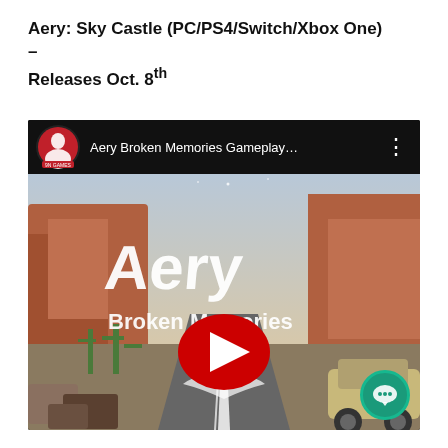Aery: Sky Castle (PC/PS4/Switch/Xbox One) – Releases Oct. 8th
[Figure (screenshot): Embedded YouTube video player showing 'Aery Broken Memories Gameplay...' with a thumbnail of the game featuring desert canyon scenery, the stylized 'Aery – Broken Memories' title logo, and a large red YouTube play button in the center.]